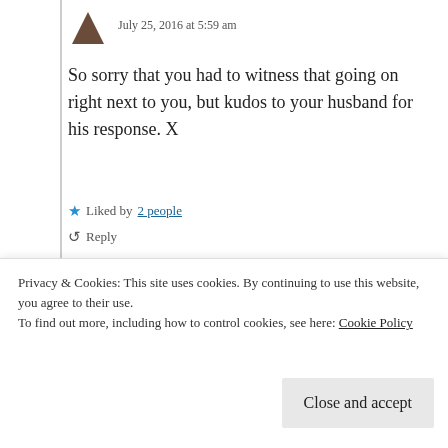July 25, 2016 at 5:59 am
So sorry that you had to witness that going on right next to you, but kudos to your husband for his response. X
Liked by 2 people
Reply
savingshards
July 25, 2016 at 8:33 am
For that I am grateful. ♥ Or...
Privacy & Cookies: This site uses cookies. By continuing to use this website, you agree to their use.
To find out more, including how to control cookies, see here: Cookie Policy
Close and accept